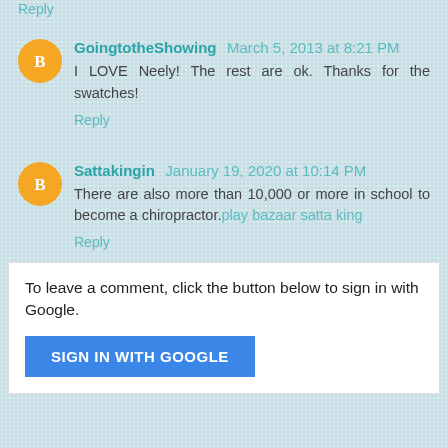Reply
GoingtotheShowing  March 5, 2013 at 8:21 PM
I LOVE Neely! The rest are ok. Thanks for the swatches!
Reply
Sattakingin  January 19, 2020 at 10:14 PM
There are also more than 10,000 or more in school to become a chiropractor.play bazaar satta king
Reply
To leave a comment, click the button below to sign in with Google.
SIGN IN WITH GOOGLE